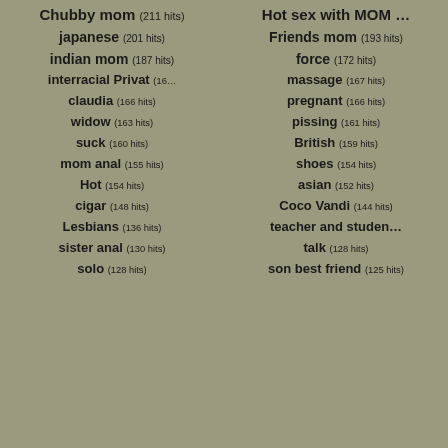Chubby mom (211 hits)
Hot sex with MOM …
japanese (201 hits)
Friends mom (193 hits)
indian mom (187 hits)
force (172 hits)
interracial Privat (16…
massage (167 hits)
claudia (166 hits)
pregnant (166 hits)
widow (163 hits)
pissing (161 hits)
suck (160 hits)
British (159 hits)
mom anal (155 hits)
shoes (154 hits)
Hot (154 hits)
asian (152 hits)
cigar (148 hits)
Coco Vandi (144 hits)
Lesbians (136 hits)
teacher and studen…
sister anal (130 hits)
talk (128 hits)
solo (128 hits)
son best friend (125 hits)